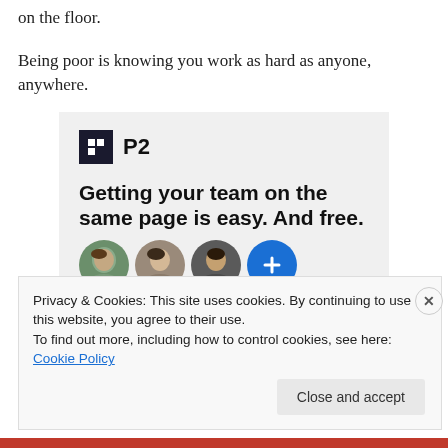on the floor.
Being poor is knowing you work as hard as anyone, anywhere.
[Figure (screenshot): Advertisement for P2 collaboration tool showing logo, headline 'Getting your team on the same page is easy. And free.' with user avatars below]
Privacy & Cookies: This site uses cookies. By continuing to use this website, you agree to their use.
To find out more, including how to control cookies, see here: Cookie Policy
Close and accept